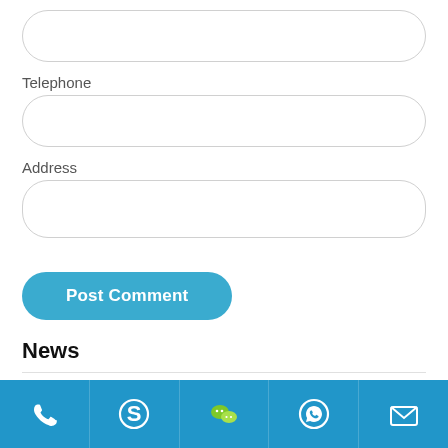[Figure (other): Empty rounded input field (top, partially visible)]
Telephone
[Figure (other): Empty rounded input field for Telephone]
Address
[Figure (other): Empty rounded input field for Address]
[Figure (other): Blue rounded button labeled Post Comment]
News
Company News
Exhibition News
Footer bar with phone, Skype, WeChat, WhatsApp, and email icons